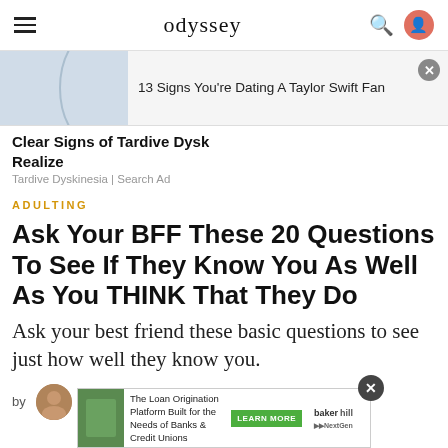odyssey
[Figure (screenshot): Ad banner showing '13 Signs You're Dating A Taylor Swift Fan' with a close button and partial image]
Clear Signs of Tardive Dysk Realize
Tardive Dyskinesia | Search Ad
ADULTING
Ask Your BFF These 20 Questions To See If They Know You As Well As You THINK That They Do
Ask your best friend these basic questions to see just how well they know you.
by
[Figure (screenshot): Bottom advertisement banner: 'The Loan Origination Platform Built for the Needs of Banks & Credit Unions' with LEARN MORE button and bakerhill / NextGen branding]